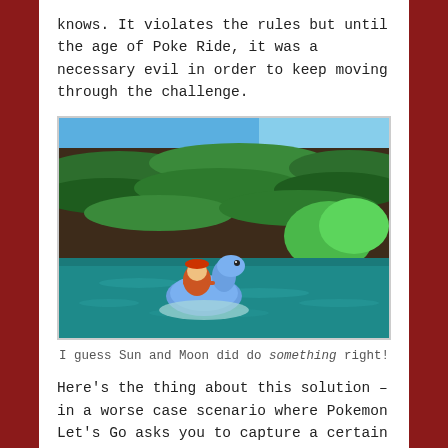knows. It violates the rules but until the age of Poke Ride, it was a necessary evil in order to keep moving through the challenge.
[Figure (screenshot): Pokemon Sun and Moon game screenshot showing a player character riding a blue Lapras across teal ocean water, with green vine-covered cliffs and sandy shores in the background.]
I guess Sun and Moon did do something right!
Here's the thing about this solution – in a worse case scenario where Pokemon Let's Go asks you to capture a certain